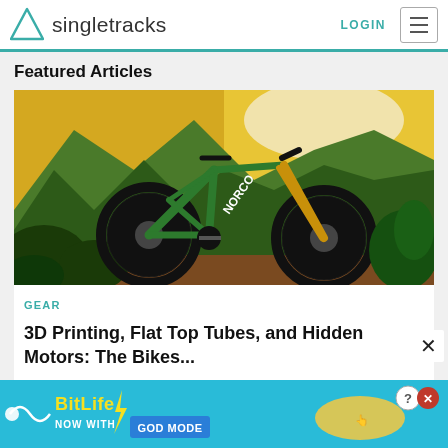Singletracks — LOGIN [menu]
Featured Articles
[Figure (photo): Green Norco full-suspension mountain bike displayed against a painted mountain/forest backdrop with ferns and plants around it. The bike is green with gold fox fork, black wheels and drivetrain.]
GEAR
3D Printing, Flat Top Tubes, and Hidden Motors: The Bikes...
[Figure (infographic): BitLife advertisement banner — blue background with yellow and white text: 'BitLife NOW WITH GOD MODE', with cartoon hand pointing and a question mark/close button.]